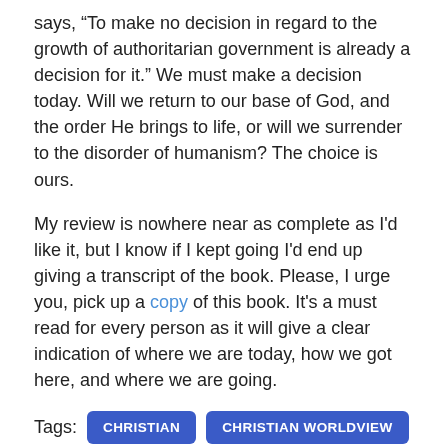says, “To make no decision in regard to the growth of authoritarian government is already a decision for it.” We must make a decision today. Will we return to our base of God, and the order He brings to life, or will we surrender to the disorder of humanism? The choice is ours.
My review is nowhere near as complete as I'd like it, but I know if I kept going I'd end up giving a transcript of the book. Please, I urge you, pick up a copy of this book. It's a must read for every person as it will give a clear indication of where we are today, how we got here, and where we are going.
Tags: CHRISTIAN | CHRISTIAN WORLDVIEW | FRANCIS SCHAEFFER | GOVERNMENT | HOW SHOULD WE THEN LIVE? | L'ABRI